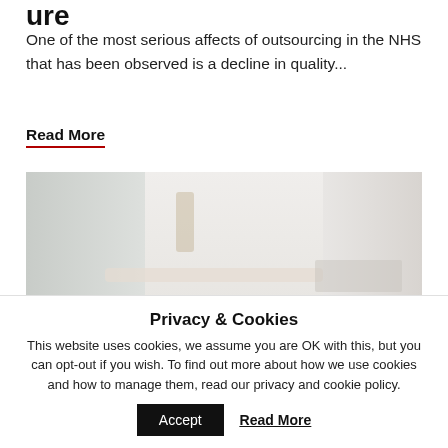ure
One of the most serious affects of outsourcing in the NHS that has been observed is a decline in quality...
Read More
[Figure (photo): A blurred hospital room scene showing a medical bed with equipment, light-toned interior]
Privacy & Cookies
This website uses cookies, we assume you are OK with this, but you can opt-out if you wish. To find out more about how we use cookies and how to manage them, read our privacy and cookie policy.
Accept
Read More